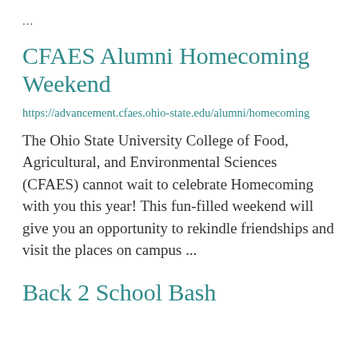...
CFAES Alumni Homecoming Weekend
https://advancement.cfaes.ohio-state.edu/alumni/homecoming
The Ohio State University College of Food, Agricultural, and Environmental Sciences (CFAES) cannot wait to celebrate Homecoming with you this year! This fun-filled weekend will give you an opportunity to rekindle friendships and visit the places on campus ...
Back 2 School Bash